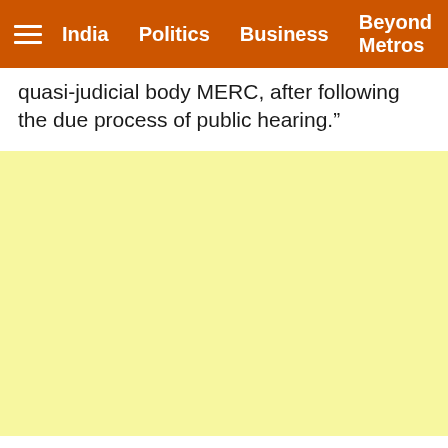India   Politics   Business   Beyond Metros
quasi-judicial body MERC, after following the due process of public hearing.”
[Figure (other): Yellow advertisement/banner area (light yellow background, no visible content)]